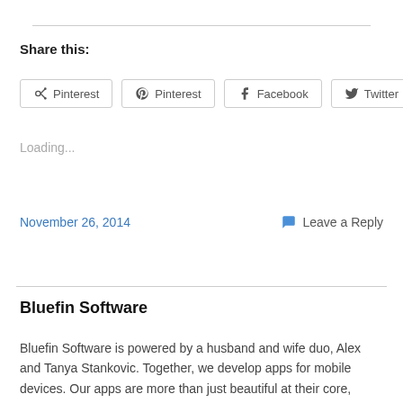Share this:
Pinterest  Facebook  Twitter
Loading...
November 26, 2014
Leave a Reply
Bluefin Software
Bluefin Software is powered by a husband and wife duo, Alex and Tanya Stankovic. Together, we develop apps for mobile devices. Our apps are more than just beautiful at their core, they're designed around the fitness experiences of real people and supported by the latest